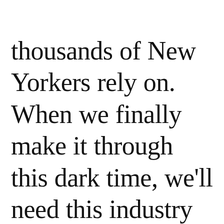thousands of New Yorkers rely on. When we finally make it through this dark time, we'll need this industry more